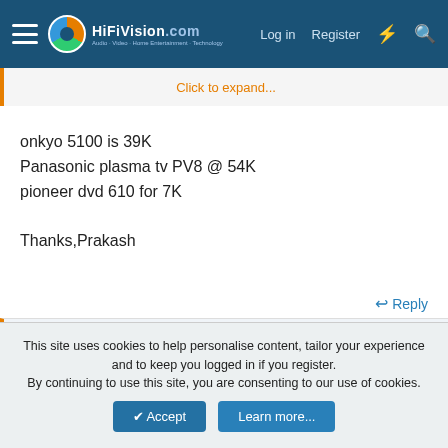HiFiVision.com — Log in | Register
Click to expand...
onkyo 5100 is 39K
Panasonic plasma tv PV8 @ 54K
pioneer dvd 610 for 7K

Thanks,Prakash
Reply
sriramiyer
RAC
Member
This site uses cookies to help personalise content, tailor your experience and to keep you logged in if you register.
By continuing to use this site, you are consenting to our use of cookies.
Accept | Learn more...